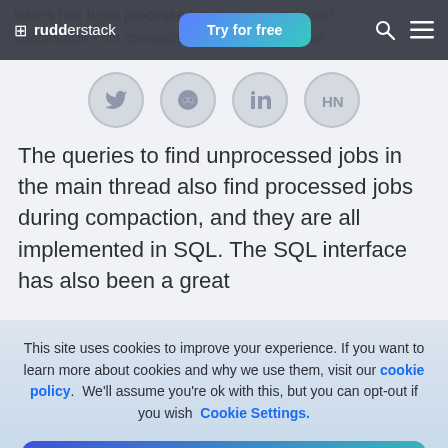rudderstack — Try for free
[Figure (infographic): Social sharing icons row: Twitter, Reddit, LinkedIn, Hacker News — circular grey icon buttons]
The queries to find unprocessed jobs in the main thread also find processed jobs during compaction, and they are all implemented in SQL. The SQL interface has also been a great
This site uses cookies to improve your experience. If you want to learn more about cookies and why we use them, visit our cookie policy.  We'll assume you're ok with this, but you can opt-out if you wish  Cookie Settings.
Accept